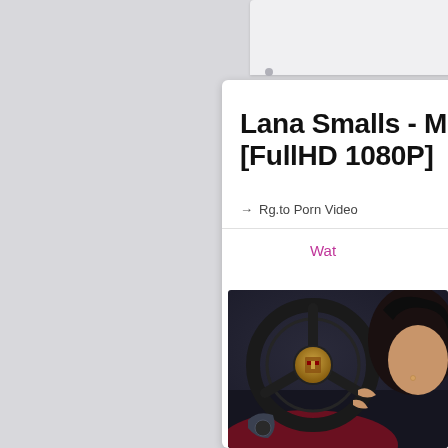Lana Smalls - M [FullHD 1080P]
→ Rg.to Porn Video
Wat
[Figure (photo): Photo showing a Porsche steering wheel with logo and a person with dark hair in a car interior]